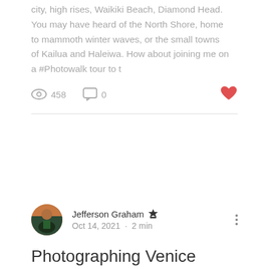city, high rises, Waikiki Beach, Diamond Head. You may have heard of the North Shore, home to mammoth winter waves, or the small towns of Kailua and Haleiwa. How about joining me on a #Photowalk tour to t
458 views  0 comments  ♥
[Figure (photo): Circular author avatar photo of Jefferson Graham]
Jefferson Graham  Admin
Oct 14, 2021 · 2 min
Photographing Venice Beach
The summer is long over and the crowds should be gone, but they're not. There's always a party, and a huge smorgasbord of street